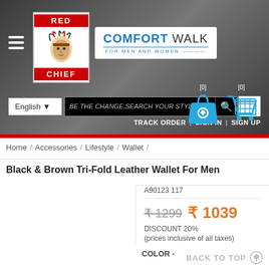[Figure (screenshot): Red Chief and Comfort Walk logo header with navigation, search bar, and shopping icons on dark background]
Home / Accessories / Lifestyle / Wallet /
Black & Brown Tri-Fold Leather Wallet For Men
A90123 117
₹1299  ₹ 1039
DISCOUNT 20%
(prices inclusive of all taxes)
COLOR -
BACK TO TOP